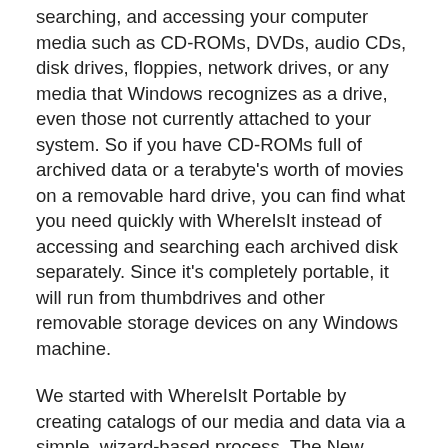searching, and accessing your computer media such as CD-ROMs, DVDs, audio CDs, disk drives, floppies, network drives, or any media that Windows recognizes as a drive, even those not currently attached to your system. So if you have CD-ROMs full of archived data or a terabyte's worth of movies on a removable hard drive, you can find what you need quickly with WhereIsIt instead of accessing and searching each archived disk separately. Since it's completely portable, it will run from thumbdrives and other removable storage devices on any Windows machine.
We started with WhereIsIt Portable by creating catalogs of our media and data via a simple, wizard-based process. The New Catalog pop-up let us choose a blank catalog or one based on a template or other catalog; we chose a blank archive, which appeared in the left-hand Catalogs and Categories panel. Having created and named our catalog, we added data by clicking Disk Image and making our selection from the automatically identified offerings at the top of